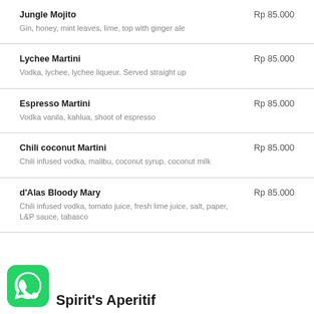Jungle Mojito — Rp 85.000
Gin, honey, mint leaves, lime, top with ginger ale
Lychee Martini — Rp 85.000
Vodka, lychee, lychee liqueur. Served straight up
Espresso Martini — Rp 85.000
Vodka vanila, kahlua, shoot of espresso
Chili coconut Martini — Rp 85.000
Chili infused vodka, malibu, coconut syrup, coconut milk
d'Alas Bloody Mary — Rp 85.000
Chili infused vodka, tomato juice, fresh lime juice, salt, paper, L&P sauce, tabasco
[Figure (logo): WhatsApp green icon logo]
Spirit's Aperitif